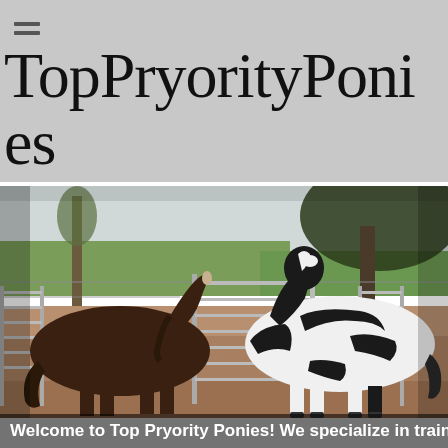TopPryorityPonies
[Figure (photo): Two horses near a metal gate fence in a dirt pen. A dark brown horse on the left and a black-and-white paint horse on the right, facing each other across the gate. Trees and green fields visible in the background.]
Welcome to Top Pryority Ponies! We specialize in training and